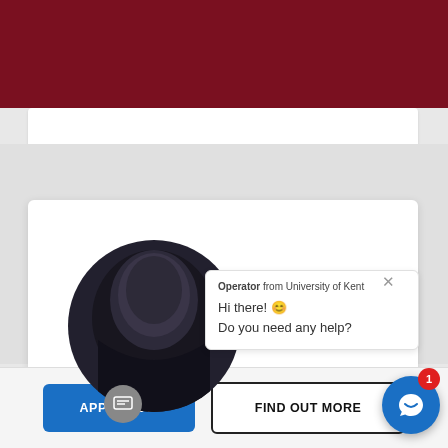[Figure (screenshot): University of Kent website screenshot showing dark red header bar at top]
[Figure (screenshot): Live chat popup showing operator avatar (person with dark hair), chat bubble with text 'Operator from University of Kent', 'Hi there! 😊', 'Do you need any help?', and a close X button]
Operator from University of Kent
Hi there! 😊
Do you need any help?
APPLY NOW
FIND OUT MORE